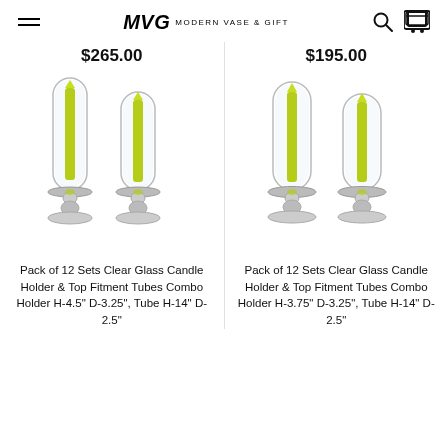MVG Modern Vase & Gift
$265.00
[Figure (photo): Two clear glass candle holders with green taper candles inside glass tube fitments, set against white background]
Pack of 12 Sets Clear Glass Candle Holder & Top Fitment Tubes Combo Holder H-4.5" D-3.25", Tube H-14" D-2.5"
$195.00
[Figure (photo): Two clear glass candle holders with green taper candles inside glass tube fitments, slightly different size, set against white background]
Pack of 12 Sets Clear Glass Candle Holder & Top Fitment Tubes Combo Holder H-3.75" D-3.25", Tube H-14" D-2.5"